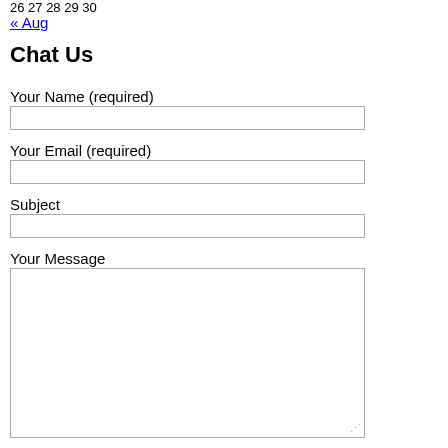26 27 28 29 30
« Aug
Chat Us
Your Name (required)
Your Email (required)
Subject
Your Message